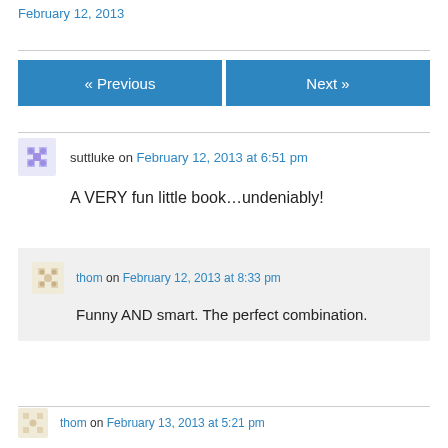February 12, 2013
« Previous
Next »
suttluke on February 12, 2013 at 6:51 pm
A VERY fun little book…undeniably!
thom on February 12, 2013 at 8:33 pm
Funny AND smart. The perfect combination.
thom on February 13, 2013 at 5:21 pm